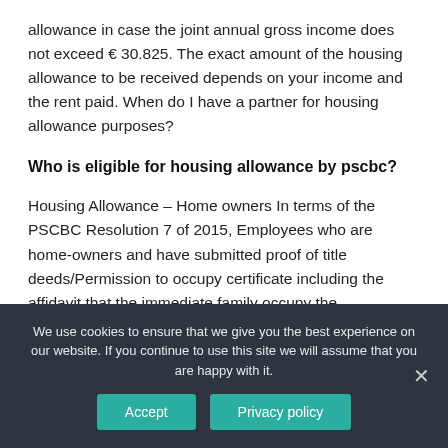allowance in case the joint annual gross income does not exceed € 30.825. The exact amount of the housing allowance to be received depends on your income and the rent paid. When do I have a partner for housing allowance purposes?
Who is eligible for housing allowance by pscbc?
Housing Allowance – Home owners In terms of the PSCBC Resolution 7 of 2015, Employees who are home-owners and have submitted proof of title deeds/Permission to occupy certificate including the affidavit that the immediate family occupy the
We use cookies to ensure that we give you the best experience on our website. If you continue to use this site we will assume that you are happy with it.